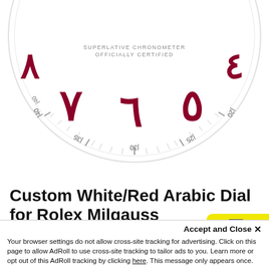[Figure (photo): Close-up of a white watch dial with large dark red/maroon Arabic numerals and minute track markings. Text at top reads 'SUPERLATIVE CHRONOMETER OFFICIALLY CERTIFIED'. Numerals visible: Arabic script for 4, 5, 6, 7, 8 region. Minute markers at 25, 30, 35 visible along the bottom arc.]
Custom White/Red Arabic Dial for Rolex Milgauss
Currently Out of Stock
Delivery, Warranty & Returns
SKU:  CBOADRM-QA
Accept and Close ✕
Your browser settings do not allow cross-site tracking for advertising. Click on this page to allow AdRoll to use cross-site tracking to tailor ads to you. Learn more or opt out of this AdRoll tracking by clicking here. This message only appears once.